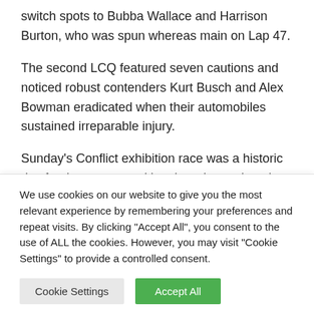switch spots to Bubba Wallace and Harrison Burton, who was spun whereas main on Lap 47.
The second LCQ featured seven cautions and noticed robust contenders Kurt Busch and Alex Bowman eradicated when their automobiles sustained irreparable injury.
Sunday's Conflict exhibition race was a historic day for the game, marking the primary time the occasion was [partially visible]
We use cookies on our website to give you the most relevant experience by remembering your preferences and repeat visits. By clicking "Accept All", you consent to the use of ALL the cookies. However, you may visit "Cookie Settings" to provide a controlled consent.